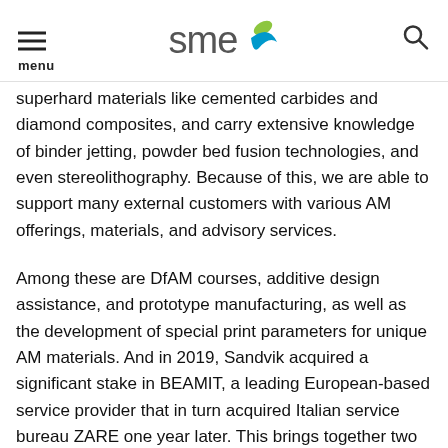menu [SME logo] [search icon]
superhard materials like cemented carbides and diamond composites, and carry extensive knowledge of binder jetting, powder bed fusion technologies, and even stereolithography. Because of this, we are able to support many external customers with various AM offerings, materials, and advisory services.
Among these are DfAM courses, additive design assistance, and prototype manufacturing, as well as the development of special print parameters for unique AM materials. And in 2019, Sandvik acquired a significant stake in BEAMIT, a leading European-based service provider that in turn acquired Italian service bureau ZARE one year later. This brings together two leading AM